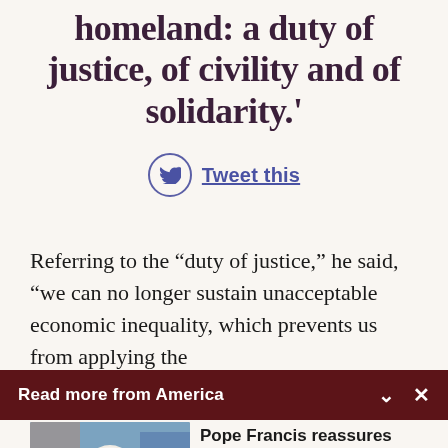homeland: a duty of justice, of civility and of solidarity.'
Tweet this
Referring to the “duty of justice,” he said, “we can no longer sustain unacceptable economic inequality, which prevents us from applying the
Read more from America
[Figure (photo): Photo of Pope Francis in white robes waving]
Pope Francis reassures bishops that resigning...
Claire Giangravé - Religion News Service